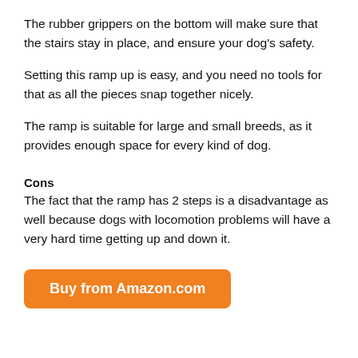The rubber grippers on the bottom will make sure that the stairs stay in place, and ensure your dog's safety.
Setting this ramp up is easy, and you need no tools for that as all the pieces snap together nicely.
The ramp is suitable for large and small breeds, as it provides enough space for every kind of dog.
Cons
The fact that the ramp has 2 steps is a disadvantage as well because dogs with locomotion problems will have a very hard time getting up and down it.
Buy from Amazon.com